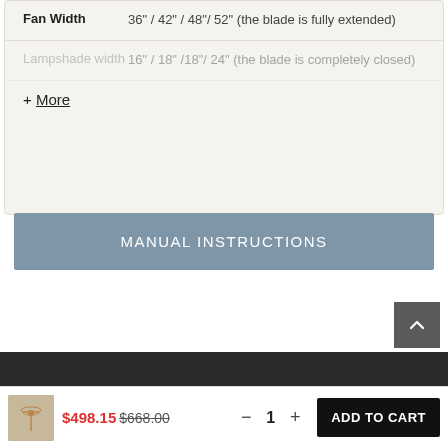| Attribute | Value |
| --- | --- |
| Fan Width | 36" / 42" / 48"/ 52" (the blade is fully extended) |
| Lampshade width | 16" / 18" /18"/ 24" (the blade is completely closed) |
+ More
MANUAL INSTRUCTIONS
[Figure (other): Dark background image section, product photo area]
$498.15 $668.00  −  1  +  ADD TO CART